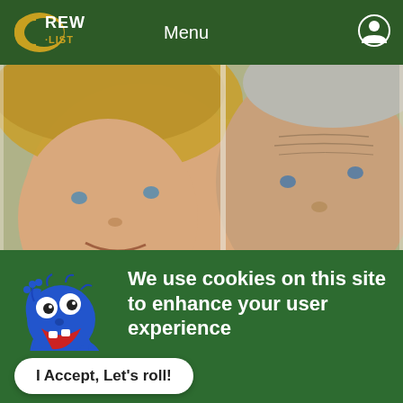CREW-LIST  Menu
[Figure (photo): Selfie photo of a middle-aged couple outdoors, woman on left with blonde hair and straw hat, man on right with grey hair, green foliage in background]
[Figure (illustration): Cookie Monster blue puppet character holding a cookie, raising one arm]
We use cookies on this site to enhance your user experience
By clicking the Accept button, you agree to us doing so.
Read our Privacy Policy
I Accept, Let's roll!